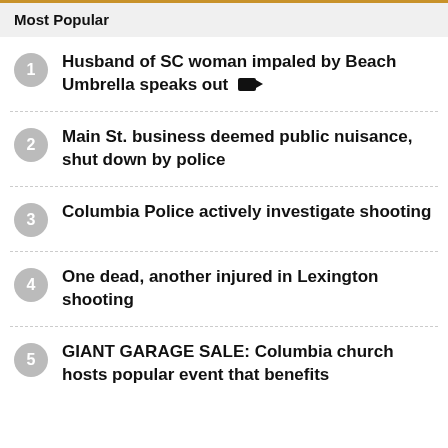Most Popular
Husband of SC woman impaled by Beach Umbrella speaks out [video]
Main St. business deemed public nuisance, shut down by police
Columbia Police actively investigate shooting
One dead, another injured in Lexington shooting
GIANT GARAGE SALE: Columbia church hosts popular event that benefits